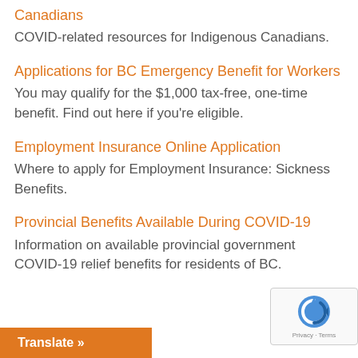Canadians
COVID-related resources for Indigenous Canadians.
Applications for BC Emergency Benefit for Workers
You may qualify for the $1,000 tax-free, one-time benefit. Find out here if you're eligible.
Employment Insurance Online Application
Where to apply for Employment Insurance: Sickness Benefits.
Provincial Benefits Available During COVID-19
Information on available provincial government COVID-19 relief benefits for residents of BC.